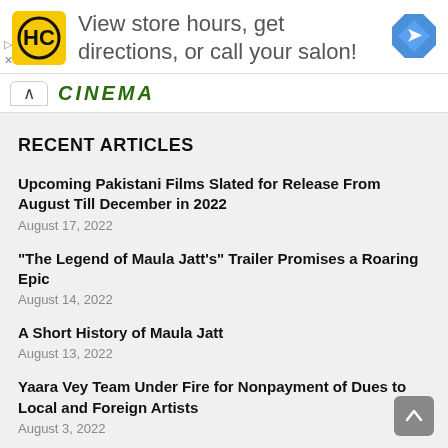[Figure (screenshot): Advertisement banner with HC logo, text 'View store hours, get directions, or call your salon!' and a blue navigation arrow icon]
CINEMA
RECENT ARTICLES
Upcoming Pakistani Films Slated for Release From August Till December in 2022
August 17, 2022
"The Legend of Maula Jatt's" Trailer Promises a Roaring Epic
August 14, 2022
A Short History of Maula Jatt
August 13, 2022
Yaara Vey Team Under Fire for Nonpayment of Dues to Local and Foreign Artists
August 3, 2022